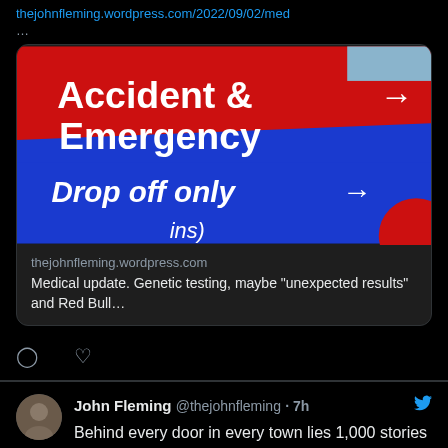thejohnfleming.wordpress.com/2022/09/02/med
...
[Figure (photo): Hospital sign reading 'Accident & Emergency →' in white text on red background, and 'Drop off only →' in white text on blue background]
thejohnfleming.wordpress.com
Medical update. Genetic testing, maybe "unexpected results" and Red Bull...
John Fleming @thejohnfleming · 7h
Behind every door in every town lies 1,000 stories and plotlines...